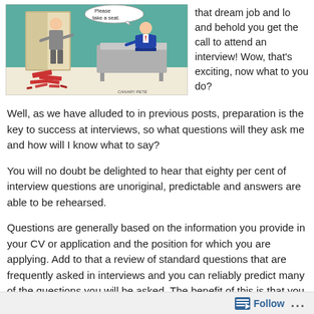[Figure (illustration): Cartoon showing an interviewer sitting behind a desk saying 'take a seat' in a speech bubble, and a job applicant standing at the door with papers/CV scattered on the floor. Caption reads 'CANARY PETE'.]
that dream job and lo and behold you get the call to attend an interview! Wow, that's exciting, now what to you do?
Well, as we have alluded to in previous posts, preparation is the key to success at interviews, so what questions will they ask me and how will I know what to say?
You will no doubt be delighted to hear that eighty per cent of interview questions are unoriginal, predictable and answers are able to be rehearsed.
Questions are generally based on the information you provide in your CV or application and the position for which you are applying. Add to that a review of standard questions that are frequently asked in interviews and you can reliably predict many of the questions you will be asked. The benefit of this is that you are able to plan and practice
Follow ...